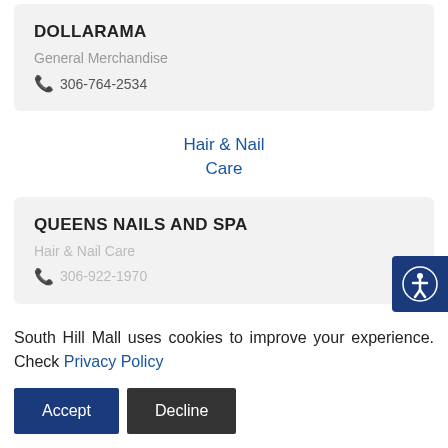DOLLARAMA
General Merchandise
306-764-2534
Hair & Nail Care
QUEENS NAILS AND SPA
Hair & Nail Care
306-922-1970
ULTRACUTS
306-763-8101
South Hill Mall uses cookies to improve your experience. Check Privacy Policy
Accept
Decline